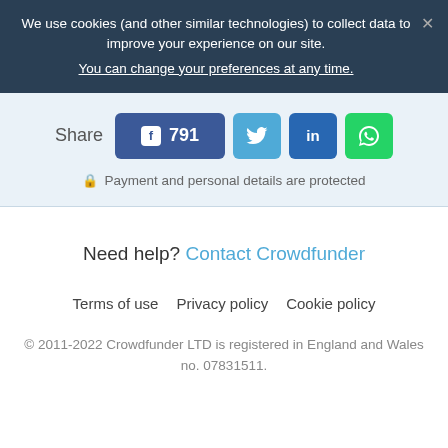We use cookies (and other similar technologies) to collect data to improve your experience on our site.
You can change your preferences at any time.
[Figure (infographic): Social share buttons: Facebook (791 shares), Twitter, LinkedIn, WhatsApp]
Payment and personal details are protected
Need help? Contact Crowdfunder
Terms of use   Privacy policy   Cookie policy
© 2011-2022 Crowdfunder LTD is registered in England and Wales no. 07831511.